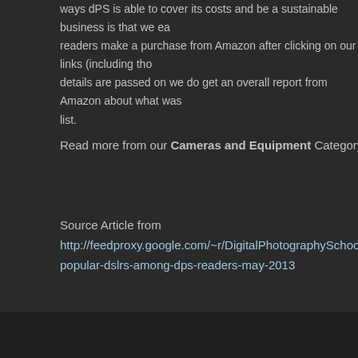ways dPS is able to cover its costs and be a sustainable business is that we ea readers make a purchase from Amazon after clicking on our links (including tho details are passed on we do get an overall report from Amazon about what was list.
Read more from our Cameras and Equipment Category
Source Article from http://feedproxy.google.com/~r/DigitalPhotographySchool/~ popular-dslrs-among-dps-readers-may-2013